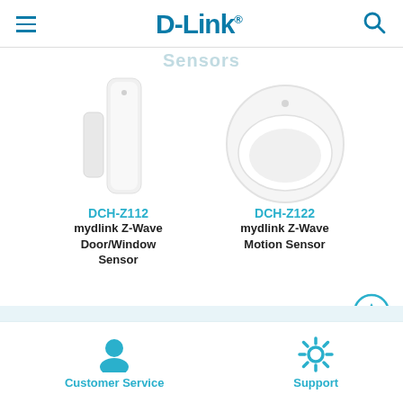D-Link
Sensors
[Figure (photo): DCH-Z112 mydlink Z-Wave Door/Window Sensor product image - two white rectangular pieces]
DCH-Z112
mydlink Z-Wave Door/Window Sensor
[Figure (photo): DCH-Z122 mydlink Z-Wave Motion Sensor product image - round white circular device]
DCH-Z122
mydlink Z-Wave Motion Sensor
Customer Service | Support